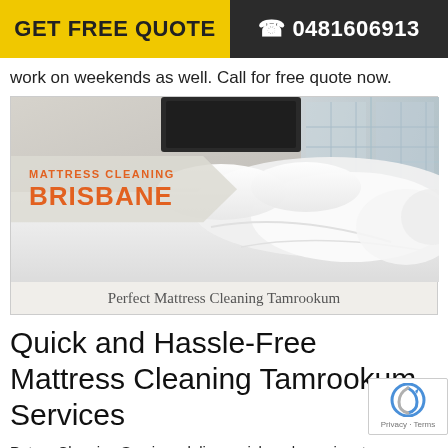GET FREE QUOTE   ☎ 0481606913
work on weekends as well. Call for free quote now.
[Figure (photo): Mattress Cleaning Brisbane branded banner image showing a neatly made white bed with pillows, with the text 'MATTRESS CLEANING BRISBANE' overlaid on a diagonal chevron shape on the left side.]
Perfect Mattress Cleaning Tamrookum
Quick and Hassle-Free Mattress Cleaning Tamrookum Services
Peters Cleaning Services deliver quick and prominent